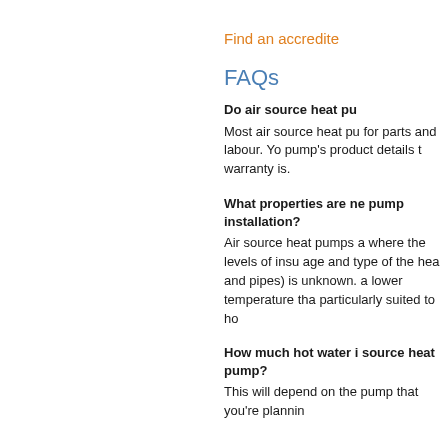Find an accredite
FAQs
Do air source heat pu
Most air source heat pu for parts and labour. Yo pump's product details t warranty is.
What properties are ne pump installation?
Air source heat pumps a where the levels of insu age and type of the hea and pipes) is unknown. a lower temperature tha particularly suited to ho
How much hot water i source heat pump?
This will depend on the pump that you're plannin